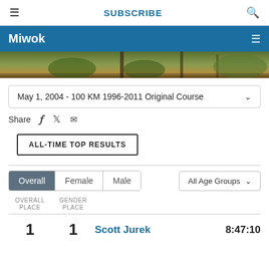≡  SUBSCRIBE  🔍
Miwok
[Figure (photo): Outdoor trail/nature photo strip showing trees and grassland]
May 1, 2004 - 100 KM 1996-2011 Original Course
Share [facebook] [twitter] [email]
ALL-TIME TOP RESULTS
Overall  Female  Male    All Age Groups
| OVERALL PLACE | GENDER PLACE |  |  |
| --- | --- | --- | --- |
| 1 | 1 | Scott Jurek | 8:47:10 |
8:47:10